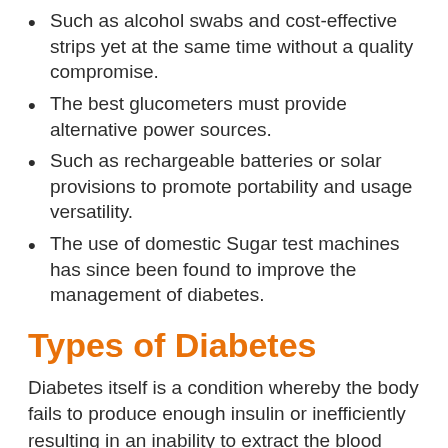Such as alcohol swabs and cost-effective strips yet at the same time without a quality compromise.
The best glucometers must provide alternative power sources.
Such as rechargeable batteries or solar provisions to promote portability and usage versatility.
The use of domestic Sugar test machines has since been found to improve the management of diabetes.
Types of Diabetes
Diabetes itself is a condition whereby the body fails to produce enough insulin or inefficiently resulting in an inability to extract the blood sugar and utilize it accordingly for